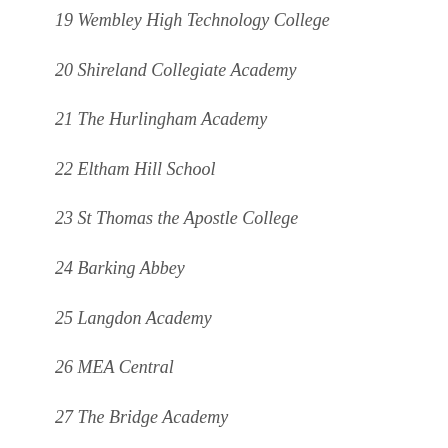19 Wembley High Technology College
20 Shireland Collegiate Academy
21 The Hurlingham Academy
22 Eltham Hill School
23 St Thomas the Apostle College
24 Barking Abbey
25 Langdon Academy
26 MEA Central
27 The Bridge Academy
28 Mulberry School for Girls